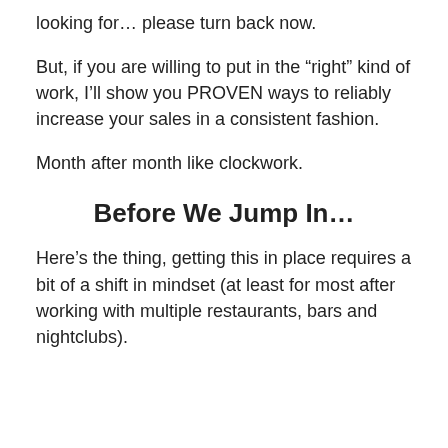looking for… please turn back now.
But, if you are willing to put in the “right” kind of work, I’ll show you PROVEN ways to reliably increase your sales in a consistent fashion.
Month after month like clockwork.
Before We Jump In…
Here’s the thing, getting this in place requires a bit of a shift in mindset (at least for most after working with multiple restaurants, bars and nightclubs).